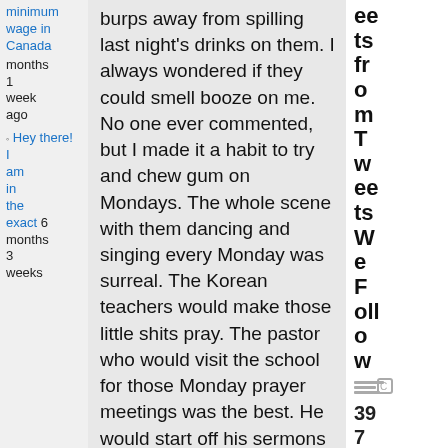minimum wage in Canada months 1 week ago
Hey there! I am in the exact 6 months 3 weeks
burps away from spilling last night's drinks on them. I always wondered if they could smell booze on me. No one ever commented, but I made it a habit to try and chew gum on Mondays. The whole scene with them dancing and singing every Monday was surreal. The Korean teachers would make those little shits pray. The pastor who would visit the school for those Monday prayer meetings was the best. He would start off his sermons real slow and then get all revved up into this manic frenzy. He would start
eets from Tweets We Follow
397 Me